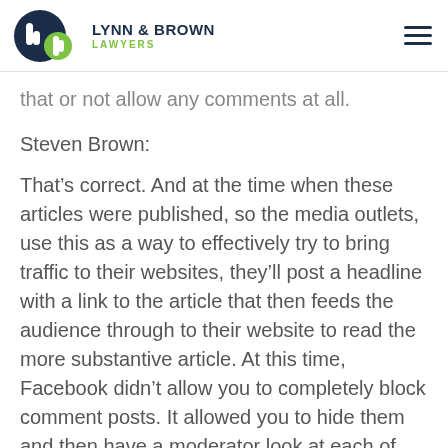LYNN & BROWN LAWYERS
that or not allow any comments at all.
Steven Brown:
That’s correct. And at the time when these articles were published, so the media outlets, use this as a way to effectively try to bring traffic to their websites, they’ll post a headline with a link to the article that then feeds the audience through to their website to read the more substantive article. At this time, Facebook didn’t allow you to completely block comment posts. It allowed you to hide them and then have a moderator look at each of those before they are